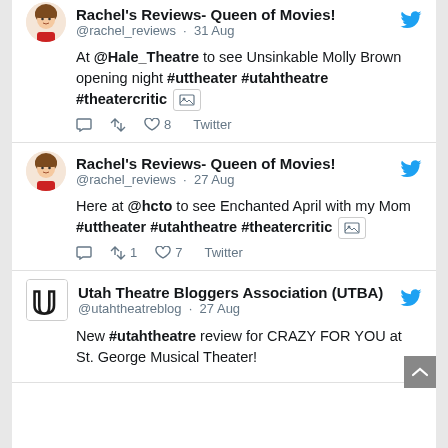Rachel's Reviews- Queen of Movies! @rachel_reviews · 31 Aug
At @Hale_Theatre to see Unsinkable Molly Brown opening night #uttheater #utahtheatre #theatercritic [image] 
♡ 8  Twitter
Rachel's Reviews- Queen of Movies! @rachel_reviews · 27 Aug
Here at @hcto to see Enchanted April with my Mom #uttheater #utahtheatre #theatercritic [image]
↺ 1  ♡ 7  Twitter
Utah Theatre Bloggers Association (UTBA) @utahtheatreblog · 27 Aug
New #utahtheatre review for CRAZY FOR YOU at St. George Musical Theater!